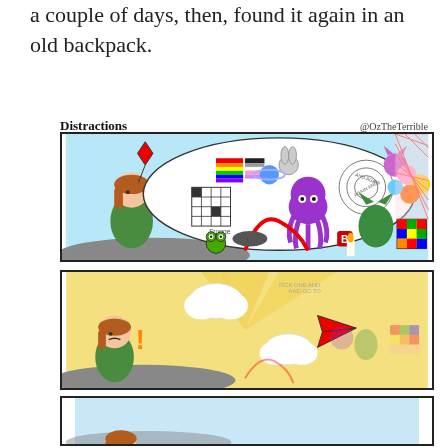a couple of days, then, found it again in an old backpack.
Distractions   @OzTheTerrible
[Figure (illustration): Comic panel 1: A cartoon girl sitting at a desk thinking, with a large thought bubble filled with many colorful distractions: crossword puzzle, rainbow flag, rabbit, planets, octopus, frog, dragon, Rubik's cube, roller coaster, emoji faces, spiral text, and other colorful items. Title: Distractions by @OzTheTerrible]
[Figure (illustration): Comic panel 2: Same cartoon girl looking surprised (! exclamation mark), with the thought bubble distractions flying away as a paper airplane into the distance, leaving a golden beam of light. The background shows the same colorful items fading away.]
[Figure (illustration): Comic panel 3 (partial): Light blue background, showing just the top of the cartoon girl's head with brown hair.]